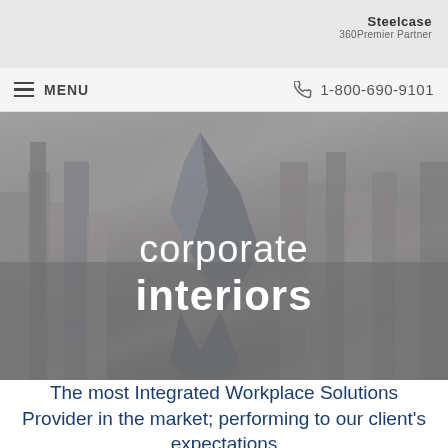Steelcase 360Premier Partner
MENU   1-800-690-9101
[Figure (photo): Aerial cityscape photo showing dense urban skyline with a prominent diamond-shaped building in the center, overlaid with the text 'corporate interiors']
corporate interiors
The most Integrated Workplace Solutions Provider in the market; performing to our client's expectations